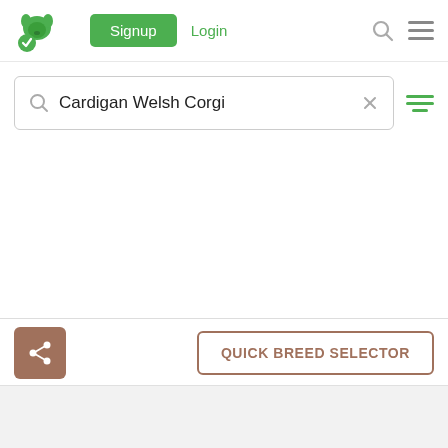[Figure (logo): Green dog silhouette logo with checkmark badge]
Signup
Login
Cardigan Welsh Corgi
QUICK BREED SELECTOR